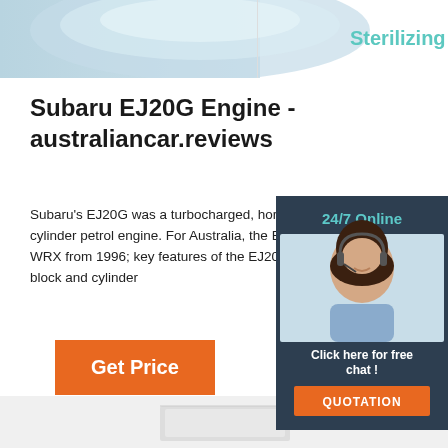[Figure (screenshot): Banner with blue gradient on left showing circular metallic object, white area on right with 'Sterilizing' text in teal]
Subaru EJ20G Engine - australiancar.reviews
Subaru's EJ20G was a turbocharged, horizontally-opposed (or 'boxer') four-cylinder petrol engine. For Australia, the EJ20G powered the GC/GM Impreza WRX from 1996; key features of the EJ20G engine were its: . Die-cast aluminium block and cylinder
[Figure (photo): Sidebar widget with dark blue background showing '24/7 Online' in teal, photo of woman with headset smiling, 'Click here for free chat!' text, and orange QUOTATION button]
[Figure (other): Orange 'Get Price' button]
[Figure (other): Orange dotted TOP icon/arrow in bottom right]
[Figure (screenshot): Partial image at bottom of page]